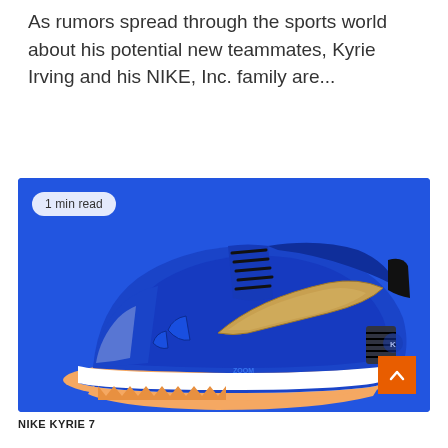As rumors spread through the sports world about his potential new teammates, Kyrie Irving and his NIKE, Inc. family are...
[Figure (photo): Nike Kyrie 7 basketball shoe in blue/gold colorway on bright blue background with '1 min read' badge overlay and orange back-to-top button]
NIKE KYRIE 7